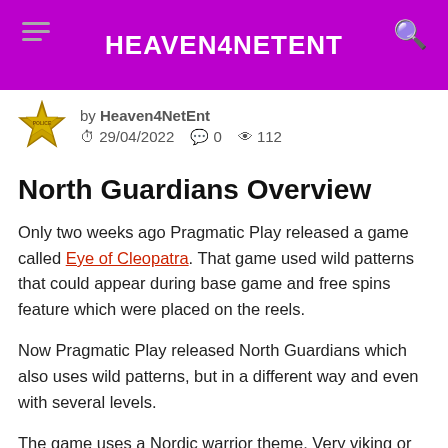HEAVEN4NETENT
by Heaven4NetEnt  29/04/2022  0  112
North Guardians Overview
Only two weeks ago Pragmatic Play released a game called Eye of Cleopatra. That game used wild patterns that could appear during base game and free spins feature which were placed on the reels.
Now Pragmatic Play released North Guardians which also uses wild patterns, but in a different way and even with several levels.
The game uses a Nordic warrior theme. Very viking or Norse mythology. A theme we've seen several times before